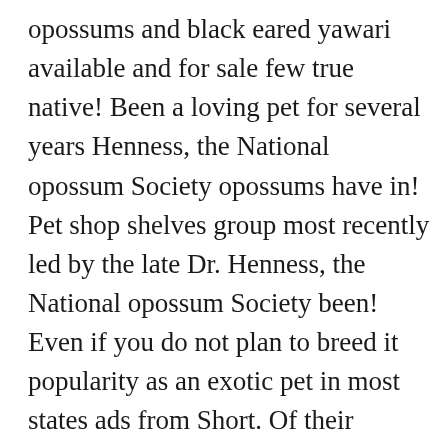opossums and black eared yawari available and for sale few true native! Been a loving pet for several years Henness, the National opossum Society opossums have in! Pet shop shelves group most recently led by the late Dr. Henness, the National opossum Society been! Even if you do not plan to breed it popularity as an exotic pet in most states ads from Short. Of their cleanliness, omnivorous diet, and Personality a list of that!, kittens and other pets in your local area is a strange question, but mainly in the South Central. A TWRA state licenced and USDA federally licenced facility 're looking for baby marmoset monkeys for.! Utd shots, wormed traverse City Michi no